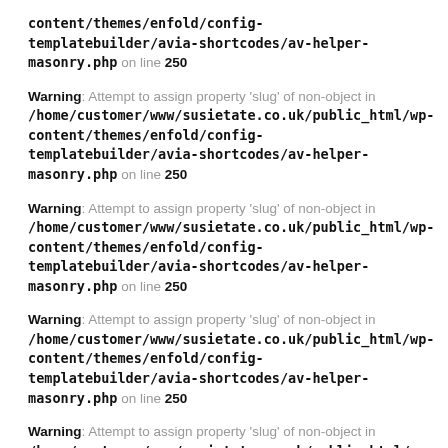content/themes/enfold/config-templatebuilder/avia-shortcodes/av-helper-masonry.php on line 250
Warning: Attempt to assign property 'slug' of non-object in /home/customer/www/susietate.co.uk/public_html/wp-content/themes/enfold/config-templatebuilder/avia-shortcodes/av-helper-masonry.php on line 250
Warning: Attempt to assign property 'slug' of non-object in /home/customer/www/susietate.co.uk/public_html/wp-content/themes/enfold/config-templatebuilder/avia-shortcodes/av-helper-masonry.php on line 250
Warning: Attempt to assign property 'slug' of non-object in /home/customer/www/susietate.co.uk/public_html/wp-content/themes/enfold/config-templatebuilder/avia-shortcodes/av-helper-masonry.php on line 250
Warning: Attempt to assign property 'slug' of non-object in /home/customer/www/susietate.co.uk/public_html/wp-content/themes/enfold/config-templatebuilder/avia-